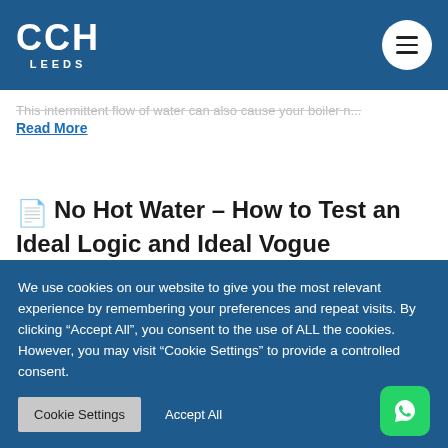CCH LEEDS
This intermittent flow of water can also cause your boiler n...
Read More
No Hot Water – How to Test an Ideal Logic and Ideal Vogue Correctly
Allen Hart / October 9, 2020 / Boilers, Gas Safety, Plumbing
We use cookies on our website to give you the most relevant experience by remembering your preferences and repeat visits. By clicking "Accept All", you consent to the use of ALL the cookies. However, you may visit "Cookie Settings" to provide a controlled consent.
Cookie Settings  Accept All